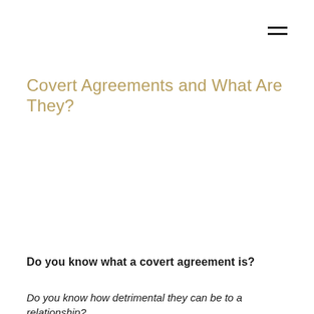Covert Agreements and What Are They?
Do you know what a covert agreement is?
Do you know how detrimental they can be to a relationship?